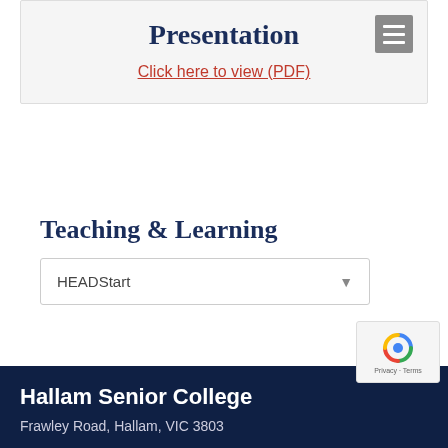Presentation
Click here to view (PDF)
Teaching & Learning
HEADStart
Hallam Senior College
Frawley Road, Hallam, VIC 3803